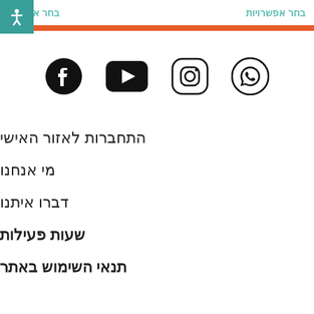בחר אפשרויות   בחר אפשרויות
[Figure (illustration): Horizontal orange divider bar]
[Figure (illustration): Social media icons: WhatsApp, Instagram, YouTube, Facebook]
התחברות לאזור האישי
מי אנחנו
דברו איתנו
שעות פעילות
תנאי השימוש באתר